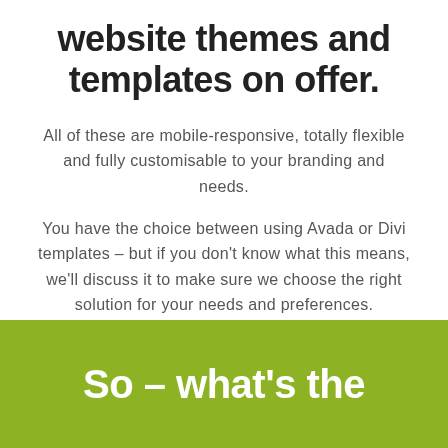website themes and templates on offer.
All of these are mobile-responsive, totally flexible and fully customisable to your branding and needs.
You have the choice between using Avada or Divi templates – but if you don't know what this means, we'll discuss it to make sure we choose the right solution for your needs and preferences.
So – what's the